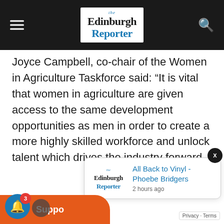The Edinburgh Reporter
Joyce Campbell, co-chair of the Women in Agriculture Taskforce said: “It is vital that women in agriculture are given access to the same development opportunities as men in order to create a more highly skilled workforce and unlock talent which drives the industry forward.
[Figure (screenshot): Edinburgh Reporter notification popup showing article title 'All Back to Vinyl - Phoebe Bridgers' posted 2 hours ago, with Edinburgh Reporter logo on left and blue link text on right]
Privacy · Terms